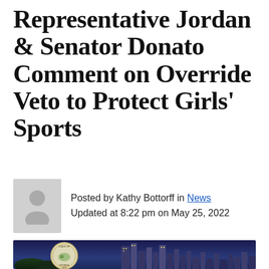Representative Jordan & Senator Donato Comment on Override Veto to Protect Girls' Sports
Posted by Kathy Bottorff in News
Updated at 8:22 pm on May 25, 2022
[Figure (photo): Indiana state seal overlaid on city skyline at dusk with illuminated skyscrapers]